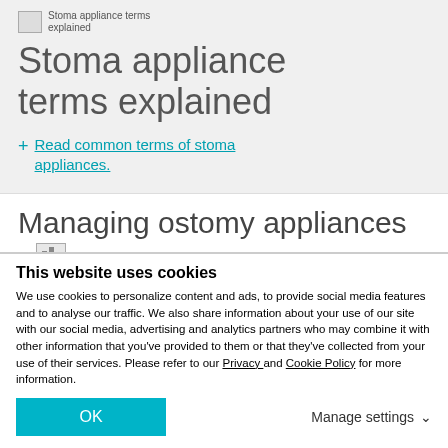[Figure (logo): Small logo image with text 'Stoma appliance terms explained']
Stoma appliance terms explained
+ Read common terms of stoma appliances.
Managing ostomy appliances
This website uses cookies
We use cookies to personalize content and ads, to provide social media features and to analyse our traffic. We also share information about your use of our site with our social media, advertising and analytics partners who may combine it with other information that you've provided to them or that they've collected from your use of their services. Please refer to our Privacy and Cookie Policy for more information.
OK
Manage settings